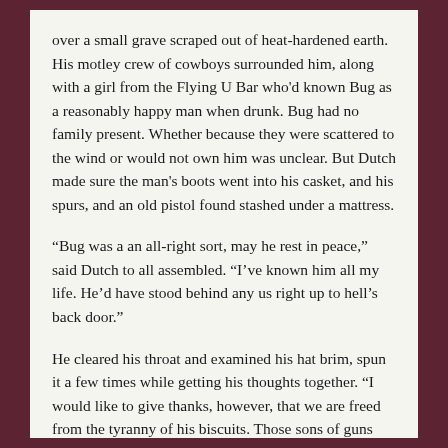over a small grave scraped out of heat-hardened earth.  His motley crew of cowboys surrounded him, along with a girl from the Flying U Bar who'd known Bug as a reasonably happy man when drunk.  Bug had no family present. Whether because they were scattered to the wind or would not own him was unclear.  But Dutch made sure the man's boots went into his casket, and his spurs, and an old pistol found stashed under a mattress.
“Bug was a an all-right sort, may he rest in peace,”  said Dutch to all assembled.  “I’ve known him all my life.  He’d have stood behind any us right up to hell’s back door.”
He cleared his throat and examined his hat brim, spun it a few times while getting his thoughts together.  “I would like to give thanks, however, that we are freed from the tyranny of his biscuits.  Those sons of guns were always rock-hard.  But they stayed in your gut for a good, solid day or two, and Bug always said that was a virtue in a biscuit.  He was a tough man, cut from an old cloth.  Like my father.  Men like these are not diminished by the challenges of our lives here.  God bless.”